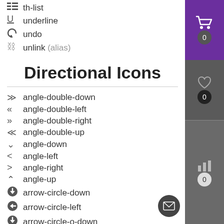th-list
underline
undo
unlink (alias)
Directional Icons
angle-double-down
angle-double-left
angle-double-right
angle-double-up
angle-down
angle-left
angle-right
angle-up
arrow-circle-down
arrow-circle-left
arrow-circle-down